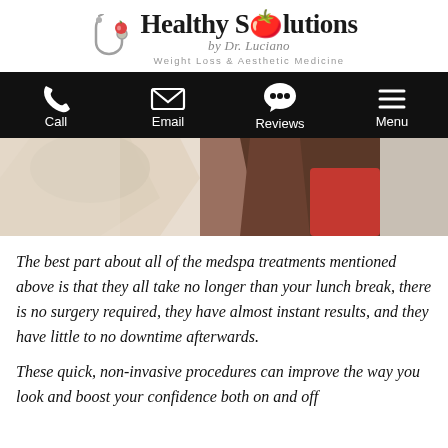[Figure (logo): Healthy Solutions by Dr. Luciano — Weight Loss & Aesthetic Medicine logo with stethoscope icon]
[Figure (infographic): Black navigation bar with Call, Email, Reviews, Menu icons in white]
[Figure (photo): Woman in white jacket with red top extending arm toward camera, partial hero image]
The best part about all of the medspa treatments mentioned above is that they all take no longer than your lunch break, there is no surgery required, they have almost instant results, and they have little to no downtime afterwards.
These quick, non-invasive procedures can improve the way you look and boost your confidence both on and off